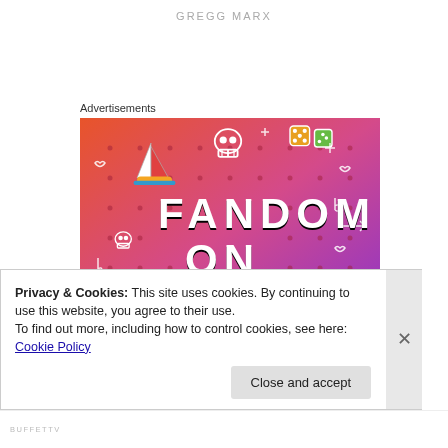GREGG MARX
Advertisements
[Figure (illustration): Colorful advertisement image with gradient background from orange to purple. Large text reads FANDOM ON tumblr with doodle icons including a sailboat, skull, dice, and various symbols.]
Privacy & Cookies: This site uses cookies. By continuing to use this website, you agree to their use.
To find out more, including how to control cookies, see here: Cookie Policy